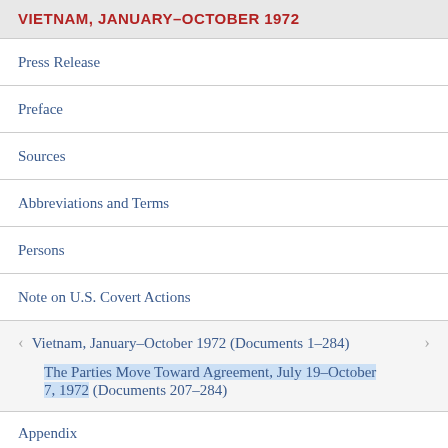VIETNAM, JANUARY–OCTOBER 1972
Press Release
Preface
Sources
Abbreviations and Terms
Persons
Note on U.S. Covert Actions
Vietnam, January–October 1972 (Documents 1–284)
The Parties Move Toward Agreement, July 19–October 7, 1972 (Documents 207–284)
Appendix